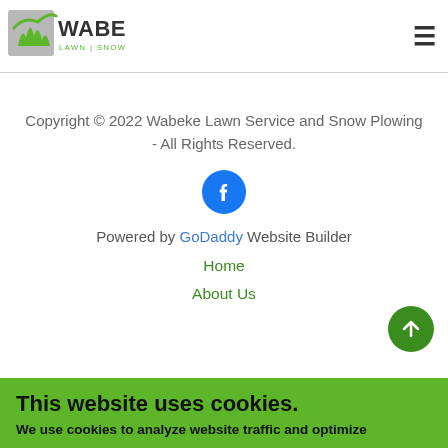[Figure (logo): Wabeke Lawn | Snow | Landscape logo with green grass checkmark icon]
Copyright © 2022 Wabeke Lawn Service and Snow Plowing - All Rights Reserved.
[Figure (illustration): Facebook circular icon in blue with white 'f' logo]
Powered by GoDaddy Website Builder
Home
About Us
This website uses cookies.
We use cookies to analyze website traffic and optimize